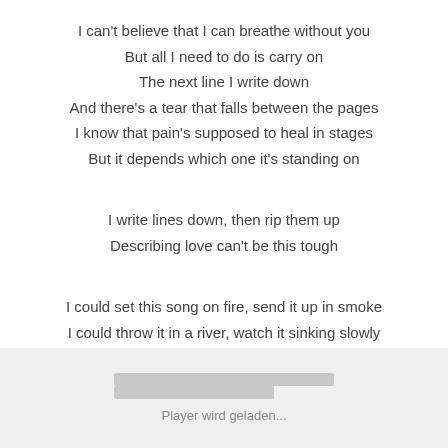I can't believe that I can breathe without you
But all I need to do is carry on
The next line I write down
And there's a tear that falls between the pages
I know that pain's supposed to heal in stages
But it depends which one it's standing on
I write lines down, then rip them up
Describing love can't be this tough
I could set this song on fire, send it up in smoke
I could throw it in a river, watch it sinking slowly
Tie the pages to a plane, send it to the moon
Player wird geladen...